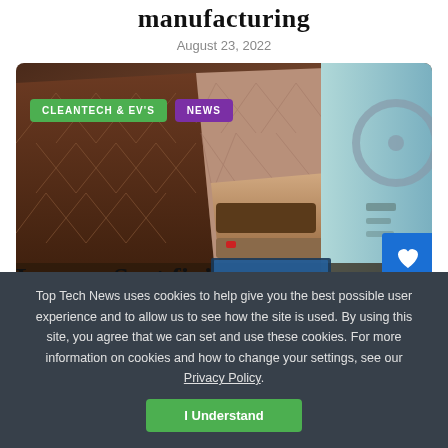manufacturing
August 23, 2022
[Figure (photo): Car interior showing luxury leather seats with diamond-stitch pattern in brown and beige tones, with armrest console and dashboard visible. Badges 'CLEANTECH & EV'S' and 'NEWS' overlaid on image.]
Top Tech News uses cookies to help give you the best possible user experience and to allow us to see how the site is used. By using this site, you agree that we can set and use these cookies. For more information on cookies and how to change your settings, see our Privacy Policy.
I Understand